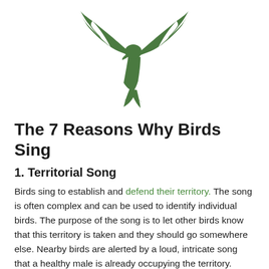[Figure (illustration): Dark green silhouette of a bird (hawk or eagle) in flight with wings spread upward, facing left]
The 7 Reasons Why Birds Sing
1. Territorial Song
Birds sing to establish and defend their territory. The song is often complex and can be used to identify individual birds. The purpose of the song is to let other birds know that this territory is taken and they should go somewhere else. Nearby birds are alerted by a loud, intricate song that a healthy male is already occupying the territory. Birds that want to challenge him for his territory can gauge their chances of success based on the complexity and strength